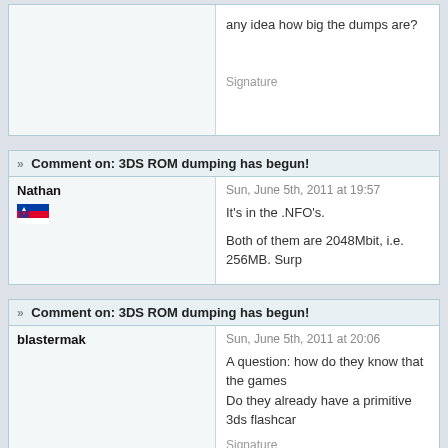any idea how big the dumps are?
Signature
Comment on: 3DS ROM dumping has begun!
Nathan
Sun, June 5th, 2011 at 19:57
It's in the .NFO's.

Both of them are 2048Mbit, i.e. 256MB. Surp
Comment on: 3DS ROM dumping has begun!
blastermak
Sun, June 5th, 2011 at 20:06
A question: how do they know that the games
Do they already have a primitive 3ds flashcar
Signature
Comment on: 3DS ROM dumping has begun!
Fiend
Sun, June 5th, 2011 at 20:07